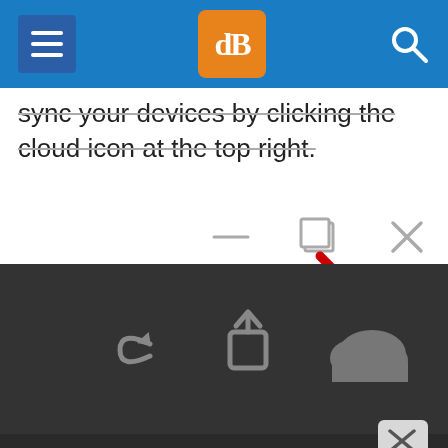dPS navigation header with hamburger menu, logo, and search icon
sync your devices by clicking the cloud icon at the top right.
[Figure (screenshot): Screenshot of a browser/app window showing window control icons (minimize, restore, close) with a red arrow pointing to a cloud icon in a dark toolbar at the bottom containing back, share, and cloud icons. A small close badge is visible at bottom right.]